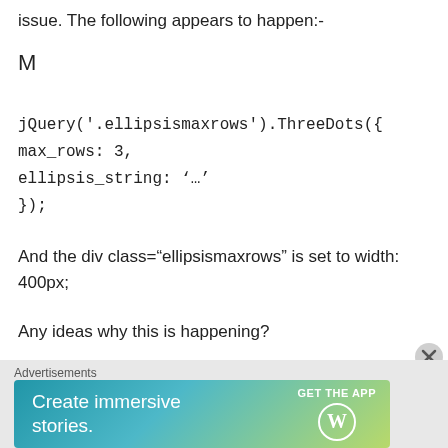issue. The following appears to happen:-
M
And the div class="ellipsismaxrows" is set to width: 400px;
Any ideas why this is happening?
Advertisements
[Figure (other): WordPress app advertisement banner: 'Create immersive stories.' with GET THE APP button and WordPress logo]